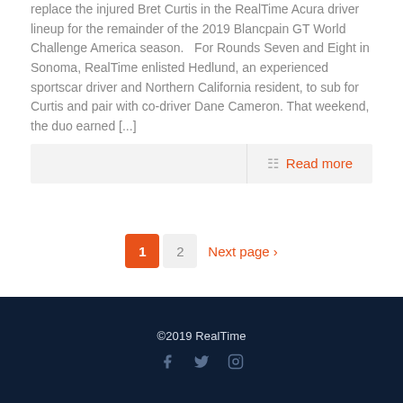replace the injured Bret Curtis in the RealTime Acura driver lineup for the remainder of the 2019 Blancpain GT World Challenge America season.   For Rounds Seven and Eight in Sonoma, RealTime enlisted Hedlund, an experienced sportscar driver and Northern California resident, to sub for Curtis and pair with co-driver Dane Cameron. That weekend, the duo earned [...]
Read more
1  2  Next page ›
©2019 RealTime